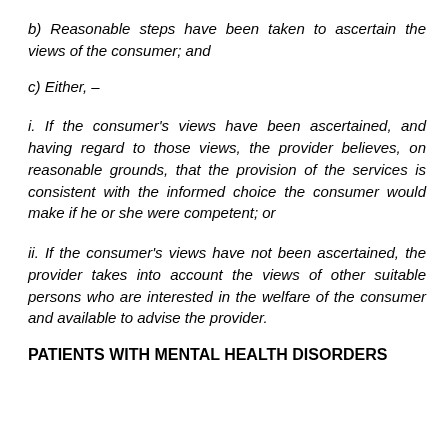b)  Reasonable steps have been taken to ascertain the views of the consumer; and
c)  Either, –
i.  If the consumer's views have been ascertained, and having regard to those views, the provider believes, on reasonable grounds, that the provision of the services is consistent with the informed choice the consumer would make if he or she were competent; or
ii.  If the consumer's views have not been ascertained, the provider takes into account the views of other suitable persons who are interested in the welfare of the consumer and available to advise the provider.
PATIENTS WITH MENTAL HEALTH DISORDERS